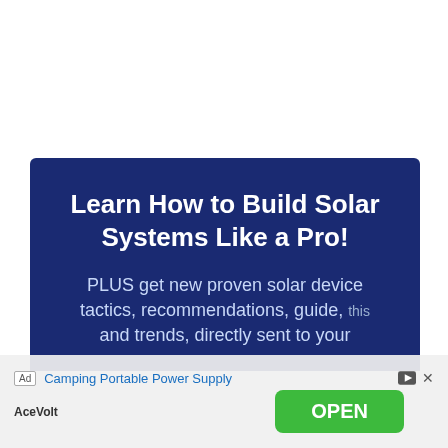[Figure (screenshot): Dark navy blue promotional banner with headline 'Learn How to Build Solar Systems Like a Pro!' and subtext 'PLUS get new proven solar device tactics, recommendations, guide, and trends, directly sent to your...']
Ad  Camping Portable Power Supply  AceVolt  OPEN